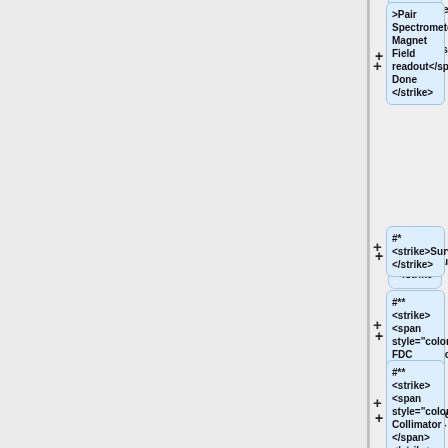>Pair Spectrometer Magnet Field readout</span> Done </strike>
#*<strike>Survey: </strike>
#** <strike><span style="color:red"> FDC </span> </strike>
#** <strike><span style="color:red"> Collimator </span> </strike>
#** <strike><span style="color:red"> Pair Spectrometer detector: finishing today. </span> </strike>
#** (partially visible)